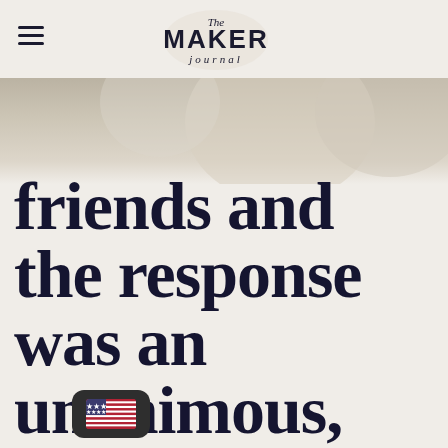The MAKER journal
[Figure (photo): Blurred background image with circular bowl shapes, muted beige tones]
friends and the response was an unanimous, "No"